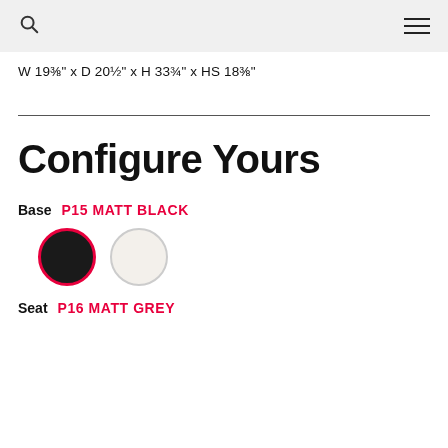[search icon] [menu icon]
W 19⅜" x D 20½" x H 33¾" x HS 18⅜"
Configure Yours
Base  P15 MATT BLACK
[Figure (illustration): Two circular color swatches: first is black with red border (selected), second is off-white/cream with light grey border]
Seat  P16 MATT GREY